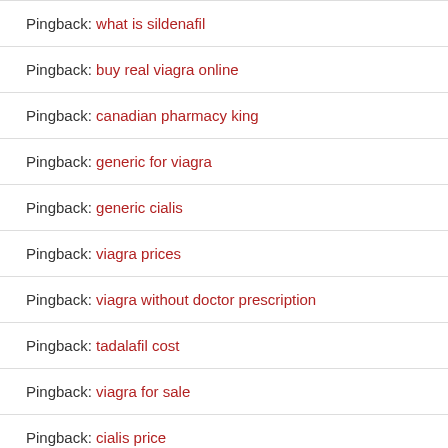Pingback: what is sildenafil
Pingback: buy real viagra online
Pingback: canadian pharmacy king
Pingback: generic for viagra
Pingback: generic cialis
Pingback: viagra prices
Pingback: viagra without doctor prescription
Pingback: tadalafil cost
Pingback: viagra for sale
Pingback: cialis price